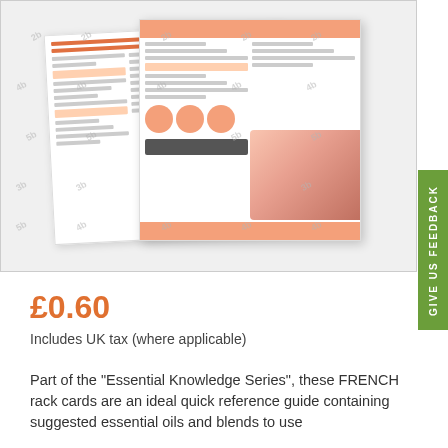[Figure (photo): Preview of French rack cards showing document pages with text columns, highlighted sections, orange header bar, and a baby foot massage photo. Multiple document pages shown at angles with watermark number overlay on grey background.]
£0.60
Includes UK tax (where applicable)
Part of the "Essential Knowledge Series", these FRENCH rack cards are an ideal quick reference guide containing suggested essential oils and blends to use